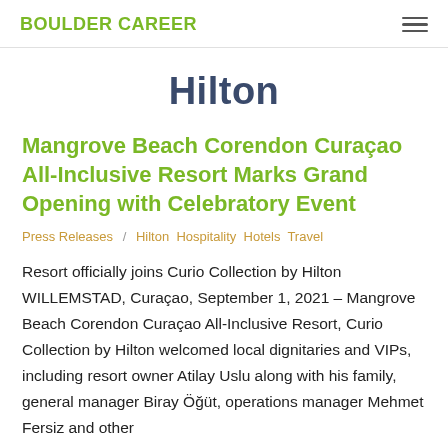BOULDER CAREER
Hilton
Mangrove Beach Corendon Curaçao All-Inclusive Resort Marks Grand Opening with Celebratory Event
Press Releases / Hilton  Hospitality  Hotels  Travel
Resort officially joins Curio Collection by Hilton WILLEMSTAD, Curaçao, September 1, 2021 – Mangrove Beach Corendon Curaçao All-Inclusive Resort, Curio Collection by Hilton welcomed local dignitaries and VIPs, including resort owner Atilay Uslu along with his family, general manager Biray Öğüt, operations manager Mehmet Fersiz and other